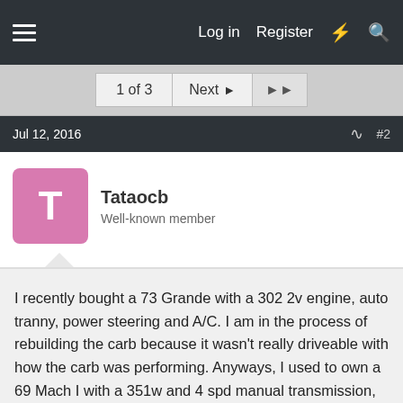Log in   Register
1 of 3   Next ▶   ▶▶
Jul 12, 2016   #2
Tataocb
Well-known member
I recently bought a 73 Grande with a 302 2v engine, auto tranny, power steering and A/C. I am in the process of rebuilding the carb because it wasn't really driveable with how the carb was performing. Anyways, I used to own a 69 Mach I with a 351w and 4 spd manual transmission, so the loss in power is noticeable. I am wondering whether it is better to build up the 302 or drop in a 460.

If I were to build up the 302 I would probably start by changing the heads to increase the CR. I would probably start with 351w